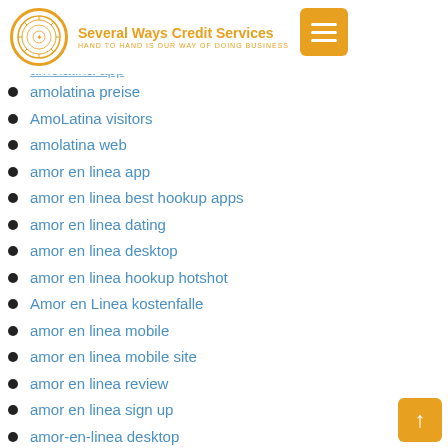Several Ways Credit Services — HAND TO HAND IS OUR WAY OF DOING BUSINESS
amolatina app
amolatina preise
AmoLatina visitors
amolatina web
amor en linea app
amor en linea best hookup apps
amor en linea dating
amor en linea desktop
amor en linea hookup hotshot
Amor en Linea kostenfalle
amor en linea mobile
amor en linea mobile site
amor en linea review
amor en linea sign up
amor-en-linea desktop
amor-en-linea review
amor-en-linea sign up
amor-en-linea tips
amor-en-linea username
amor-en-linea.org coupon